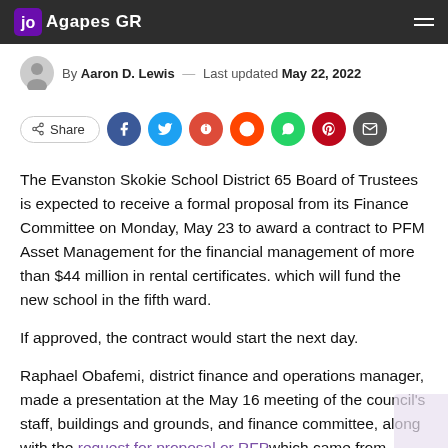Agapes GR
By Aaron D. Lewis — Last updated May 22, 2022
[Figure (infographic): Social share buttons row: Share button, Facebook, Twitter, Google+, Reddit, WhatsApp, Pinterest, Email icons]
The Evanston Skokie School District 65 Board of Trustees is expected to receive a formal proposal from its Finance Committee on Monday, May 23 to award a contract to PFM Asset Management for the financial management of more than $44 million in rental certificates. which will fund the new school in the fifth ward.
If approved, the contract would start the next day.
Raphael Obafemi, district finance and operations manager, made a presentation at the May 16 meeting of the council's staff, buildings and grounds, and finance committee, along with the request for proposal or RFP which came from